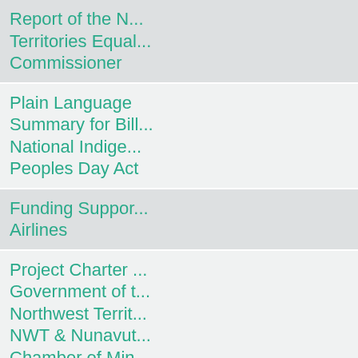| ID | Title |
| --- | --- |
| 433-19(2) | Report of the Northwest Territories Equal... Commissioner |
| 432-19(2) | Plain Language Summary for Bill... National Indigenous Peoples Day Act |
| 431-19(2) | Funding Support... Airlines |
| 430-19(2) | Project Charter... Government of the Northwest Territories NWT & Nunavut Chamber of Mines COVID Recovery Working Group |
| 429-19(2) | Inter-activity Transfer Exceeding $250,... the Period April... |